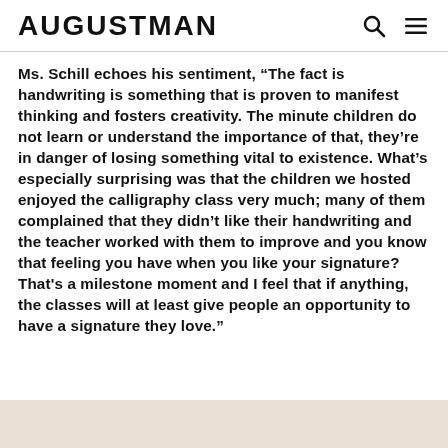AUGUSTMAN
Ms. Schill echoes his sentiment, “The fact is handwriting is something that is proven to manifest thinking and fosters creativity. The minute children do not learn or understand the importance of that, they’re in danger of losing something vital to existence. What’s especially surprising was that the children we hosted enjoyed the calligraphy class very much; many of them complained that they didn’t like their handwriting and the teacher worked with them to improve and you know that feeling you have when you like your signature? That's a milestone moment and I feel that if anything, the classes will at least give people an opportunity to have a signature they love.”
[Figure (photo): Bottom strip of a photograph with beige/off-white tones, partially visible at the bottom of the page.]